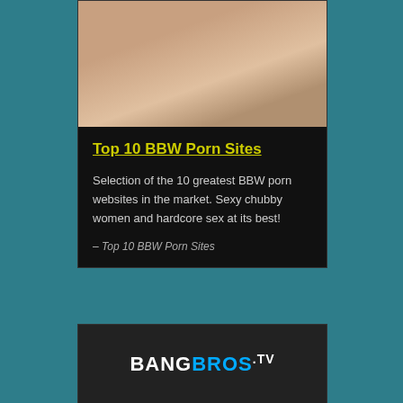[Figure (photo): Photo thumbnail for Top 10 BBW Porn Sites article]
Top 10 BBW Porn Sites
Selection of the 10 greatest BBW porn websites in the market. Sexy chubby women and hardcore sex at its best!
– Top 10 BBW Porn Sites
[Figure (photo): BangBros website banner/logo screenshot]